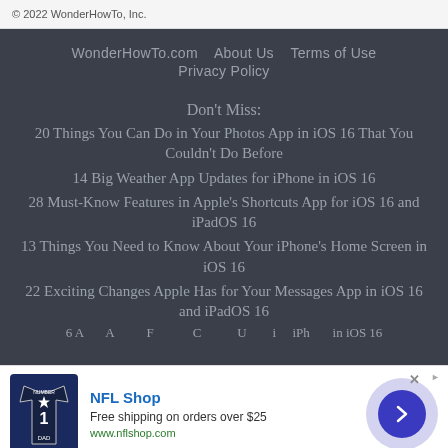© 2022 WonderHowTo, Inc.
WonderHowTo.com   About Us   Terms of Use
Privacy Policy
Don't Miss:
20 Things You Can Do in Your Photos App in iOS 16 That You Couldn't Do Before
14 Big Weather App Updates for iPhone in iOS 16
28 Must-Know Features in Apple's Shortcuts App for iOS 16 and iPadOS 16
13 Things You Need to Know About Your iPhone's Home Screen in iOS 16
22 Exciting Changes Apple Has for Your Messages App in iOS 16 and iPadOS 16
[Figure (other): NFL Shop advertisement banner with jersey image, text 'NFL Shop', 'Free shipping on orders over $25', 'www.nflshop.com', and a blue arrow button]